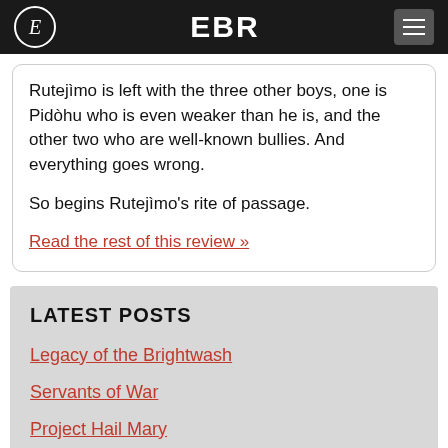EBR
Rutejìmo is left with the three other boys, one is Pidòhu who is even weaker than he is, and the other two who are well-known bullies. And everything goes wrong.

So begins Rutejìmo's rite of passage.
Read the rest of this review »
LATEST POSTS
Legacy of the Brightwash
Servants of War
Project Hail Mary